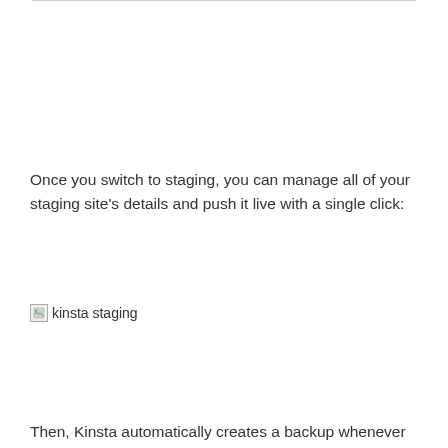Once you switch to staging, you can manage all of your staging site’s details and push it live with a single click:
[Figure (screenshot): Broken image placeholder labeled 'kinsta staging']
Then, Kinsta automatically creates a backup whenever